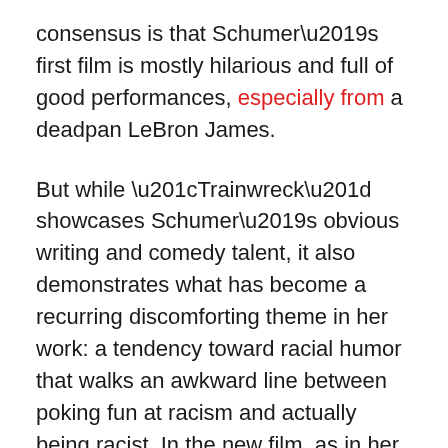consensus is that Schumer's first film is mostly hilarious and full of good performances, especially from a deadpan LeBron James.
But while “Trainwreck” showcases Schumer’s obvious writing and comedy talent, it also demonstrates what has become a recurring discomforting theme in her work: a tendency toward racial humor that walks an awkward line between poking fun at racism and actually being racist. In the new film, as in her previous controversial output, Schumer writes characters who are ignorant and prejudiced. Schumer insists that she depicts bigotry in order to mock it, but “Trainwreck” is not especially clear in its judgments, and the viewers’ laughter at the characters’ racism may ultimately bleed